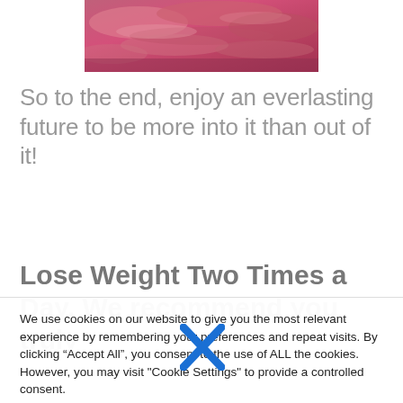[Figure (photo): Photograph of a dramatic pink and red cloudy sky at sunset/dusk, cropped banner-style at the top of the page.]
So to the end, enjoy an everlasting future to be more into it than out of it!
Lose Weight Two Times a Day. We recommend you truly
We use cookies on our website to give you the most relevant experience by remembering your preferences and repeat visits. By clicking “Accept All”, you consent to the use of ALL the cookies. However, you may visit "Cookie Settings" to provide a controlled consent.